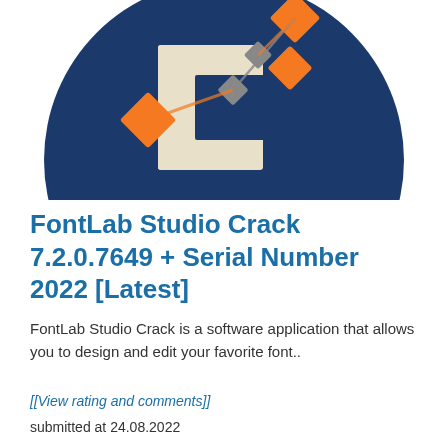[Figure (logo): FontLab Studio logo: dark navy blue circle with a white stylized letter F/C in the center and orange diamond/node shapes representing font editing bezier handles]
FontLab Studio Crack 7.2.0.7649 + Serial Number 2022 [Latest]
FontLab Studio Crack is a software application that allows you to design and edit your favorite font..
[[View rating and comments]]
submitted at 24.08.2022